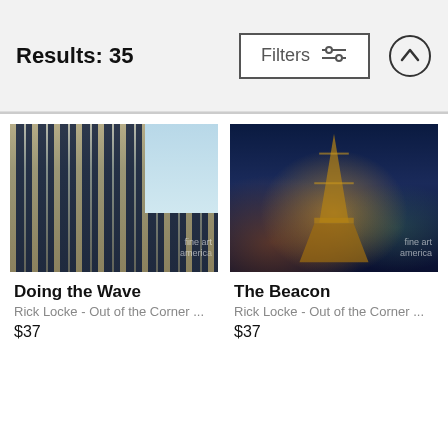Results: 35
Filters
[Figure (photo): Photograph of a modern glass skyscraper with vertical stripe pattern, partial blue sky visible on right side. Watermark: fine art america]
Doing the Wave
Rick Locke - Out of the Corner ...
$37
[Figure (photo): Night photograph of the Eiffel Tower illuminated with lights, city traffic and lights visible below. Watermark: fine art america]
The Beacon
Rick Locke - Out of the Corner ...
$37